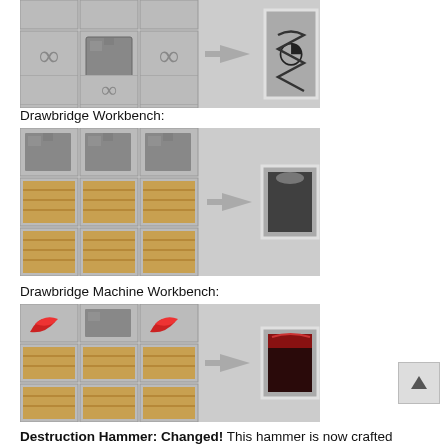[Figure (screenshot): Minecraft crafting recipe showing chain/spring items in a 3x3 grid yielding a coiled spring item]
Drawbridge Workbench:
[Figure (screenshot): Minecraft crafting recipe for Drawbridge Workbench: top row three cobblestone blocks, middle and bottom rows wooden planks, yielding a workbench block]
Drawbridge Machine Workbench:
[Figure (screenshot): Minecraft crafting recipe for Drawbridge Machine Workbench: top row redstone, cobblestone, redstone; middle and bottom rows wooden planks; yielding a dark machine block with red top]
Destruction Hammer: Changed! This hammer is now crafted